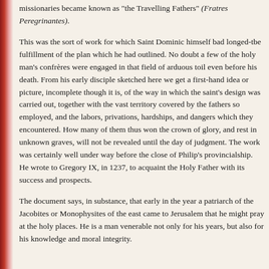missionaries became known as "the Travelling Fathers" (Fratres Peregrinantes).
This was the sort of work for which Saint Dominic himself bad longed-tbe fulfillment of the plan which he had outlined. No doubt a few of the holy man's confrères were engaged in that field of arduous toil even before his death. From his early disciple sketched here we get a first-hand idea or picture, incomplete though it is, of the way in which the saint's design was carried out, together with the vast territory covered by the fathers so employed, and the labors, privations, hardships, and dangers which they encountered. How many of them thus won the crown of glory, and rest in unknown graves, will not be revealed until the day of judgment. The work was certainly well under way before the close of Philip's provincialship. He wrote to Gregory IX, in 1237, to acquaint the Holy Father with its success and prospects.
The document says, in substance, that early in the year a patriarch of the Jacobites or Monophysites of the east came to Jerusalem that he might pray at the holy places. He is a man venerable not only for his years, but also for his knowledge and moral integrity.